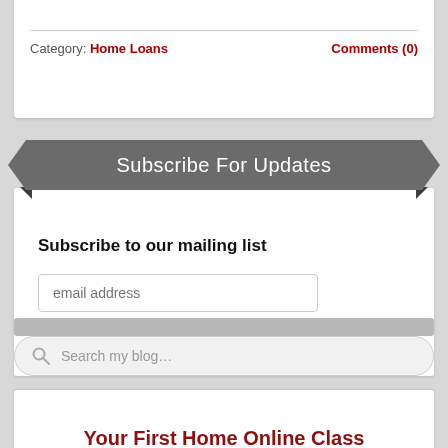Category: Home Loans    Comments (0)
Subscribe For Updates
Subscribe to our mailing list
email address
Subscribe
Search my blog…
Your First Home Online Class